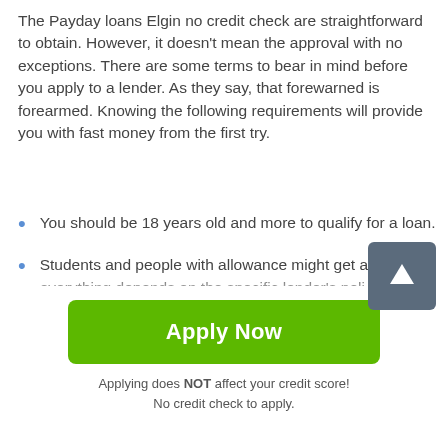The Payday loans Elgin no credit check are straightforward to obtain. However, it doesn't mean the approval with no exceptions. There are some terms to bear in mind before you apply to a lender. As they say, that forewarned is forearmed. Knowing the following requirements will provide you with fast money from the first try.
You should be 18 years old and more to qualify for a loan.
Students and people with allowance might get a loan, but everything depends on the specific lender's poli…
It's necessary to provide an operator with the postdated check…
[Figure (other): Scroll-to-top button: dark grey rounded square with a white upward arrow icon]
Apply Now
Applying does NOT affect your credit score!
No credit check to apply.